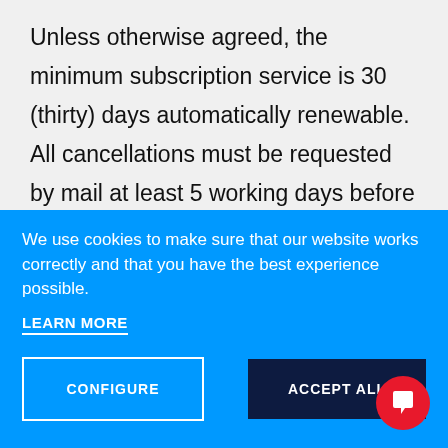Unless otherwise agreed, the minimum subscription service is 30 (thirty) days automatically renewable. All cancellations must be requested by mail at least 5 working days before the next month's invoice (issued the last day of each month).
We use cookies to make sure that our website works correctly and that you have the best experience possible.
LEARN MORE
CONFIGURE
ACCEPT ALL